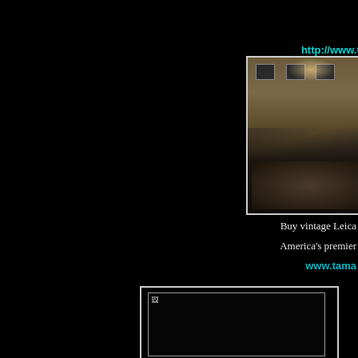http://www.ta...
[Figure (photo): Person surrounded by vintage Leica cameras on a table in a gallery room with framed photographs on the wall]
Buy vintage Leica...
America’s premier...
www.tama...
[Figure (photo): Second advertisement image, partially loaded, shown with a white border frame]